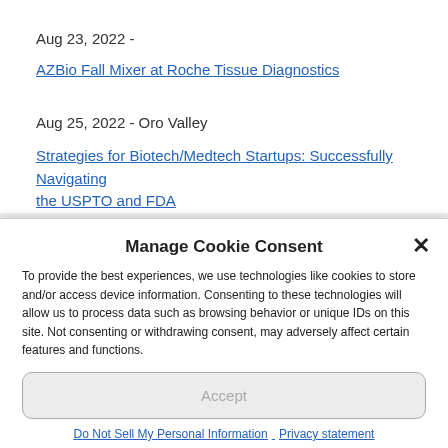Aug 23, 2022 -
AZBio Fall Mixer at Roche Tissue Diagnostics
Aug 25, 2022 - Oro Valley
Strategies for Biotech/Medtech Startups: Successfully Navigating the USPTO and FDA
Manage Cookie Consent
To provide the best experiences, we use technologies like cookies to store and/or access device information. Consenting to these technologies will allow us to process data such as browsing behavior or unique IDs on this site. Not consenting or withdrawing consent, may adversely affect certain features and functions.
Accept
Do Not Sell My Personal Information   Privacy statement